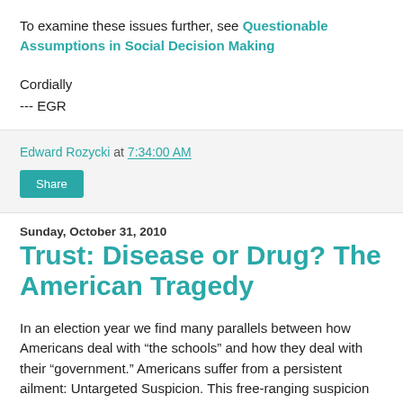To examine these issues further, see Questionable Assumptions in Social Decision Making
Cordially
--- EGR
Edward Rozycki at 7:34:00 AM
Share
Sunday, October 31, 2010
Trust: Disease or Drug? The American Tragedy
In an election year we find many parallels between how Americans deal with “the schools” and how they deal with their “government.” Americans suffer from a persistent ailment: Untargeted Suspicion. This free-ranging suspicion